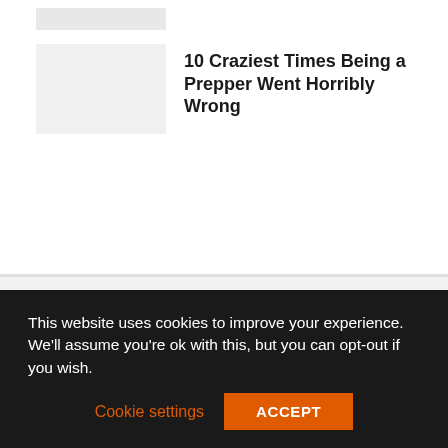[Figure (photo): Partial thumbnail image visible at the top of the page (cropped)]
10 Craziest Times Being a Prepper Went Horribly Wrong
Advertise with us / Disclaimer / Privacy Policy / Sitemap / Terms & Conditions
This website uses cookies to improve your experience. We'll assume you're ok with this, but you can opt-out if you wish.
Cookie settings  ACCEPT